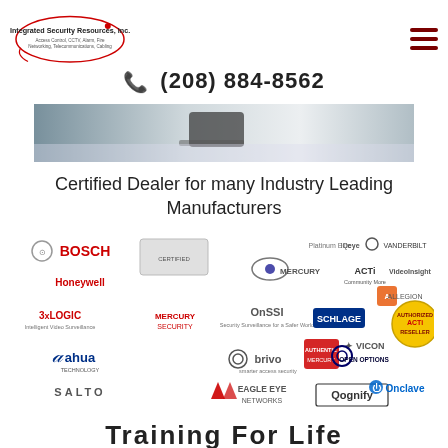[Figure (logo): Integrated Security Resources, Inc. logo with oval border and company tagline: Access Control, CCTV, Alarm, Fire, Networking, Telecommunications, Cabling]
(208) 884-8562
[Figure (photo): Hero image showing a close-up of technology equipment on a desk surface]
Certified Dealer for many Industry Leading Manufacturers
[Figure (infographic): Grid of manufacturer logos including Bosch, Honeywell, 3xLogic, ahua (Dahua), Salto, Platinum Elite Mercury, OnSSI, Brivo, Eagle Eye Networks, IQeye, ACTi, Schlage, Vicon, Open Options, Qognify, Vanderbilt, Allegion, VideoInsight, Authentic Mercury, ACTi Authorized Reseller, Onclave]
Training For Life